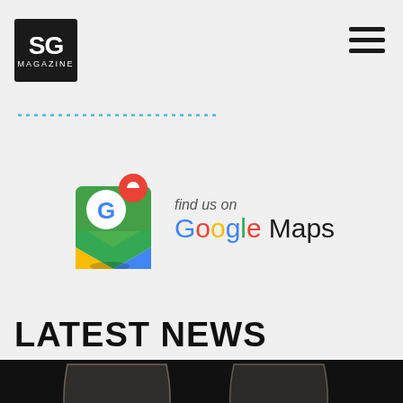SG MAGAZINE
[Figure (logo): SG Magazine logo — white SG text on black square with MAGAZINE text below]
[Figure (logo): Google Maps logo with Google Maps icon and 'find us on Google Maps' text]
LATEST NEWS
[Figure (photo): Dark atmospheric photo of two wine glasses branded 'vins de provence' containing rosé wine on a dark background]